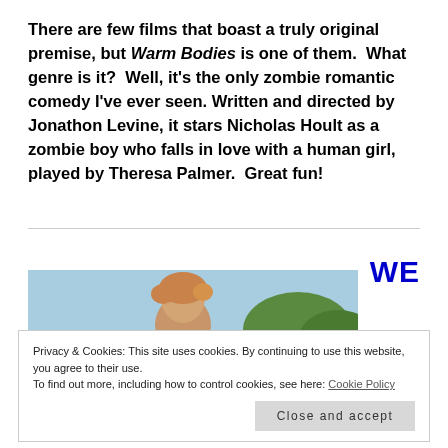There are few films that boast a truly original premise, but Warm Bodies is one of them. What genre is it? Well, it's the only zombie romantic comedy I've ever seen. Written and directed by Jonathon Levine, it stars Nicholas Hoult as a zombie boy who falls in love with a human girl, played by Theresa Palmer. Great fun!
[Figure (photo): Photo of a young child with light/reddish hair outdoors, trees visible in background, blue sky.]
WE
Privacy & Cookies: This site uses cookies. By continuing to use this website, you agree to their use.
To find out more, including how to control cookies, see here: Cookie Policy
Close and accept